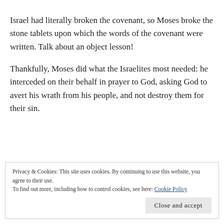Israel had literally broken the covenant, so Moses broke the stone tablets upon which the words of the covenant were written. Talk about an object lesson!
Thankfully, Moses did what the Israelites most needed: he interceded on their behalf in prayer to God, asking God to avert his wrath from his people, and not destroy them for their sin.
Privacy & Cookies: This site uses cookies. By continuing to use this website, you agree to their use.
To find out more, including how to control cookies, see here: Cookie Policy
Close and accept